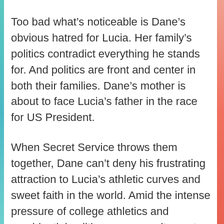Too bad what's noticeable is Dane's obvious hatred for Lucia. Her family's politics contradict everything he stands for. And politics are front and center in both their families. Dane's mother is about to face Lucia's father in the race for US President.
When Secret Service throws them together, Dane can't deny his frustrating attraction to Lucia's athletic curves and sweet faith in the world. Amid the intense pressure of college athletics and presidential politics, can opposites not just attract, but overcome overwhelming odds to be together? Or do their differences block their